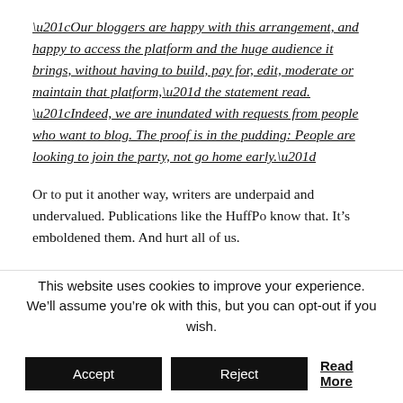“Our bloggers are happy with this arrangement, and happy to access the platform and the huge audience it brings, without having to build, pay for, edit, moderate or maintain that platform,” the statement read. “Indeed, we are inundated with requests from people who want to blog. The proof is in the pudding: People are looking to join the party, not go home early.”
Or to put it another way, writers are underpaid and undervalued. Publications like the HuffPo know that. It’s emboldened them. And hurt all of us.
Writers, artists, inkers, letterers, colourists, you name a
This website uses cookies to improve your experience. We’ll assume you’re ok with this, but you can opt-out if you wish.